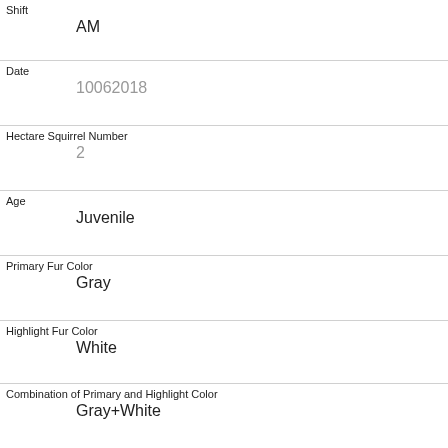| Shift | AM |
| Date | 10062018 |
| Hectare Squirrel Number | 2 |
| Age | Juvenile |
| Primary Fur Color | Gray |
| Highlight Fur Color | White |
| Combination of Primary and Highlight Color | Gray+White |
| Color notes |  |
| Location | Above Ground |
| Above Ground Sighter Measurement | 30 |
| Specific Location |  |